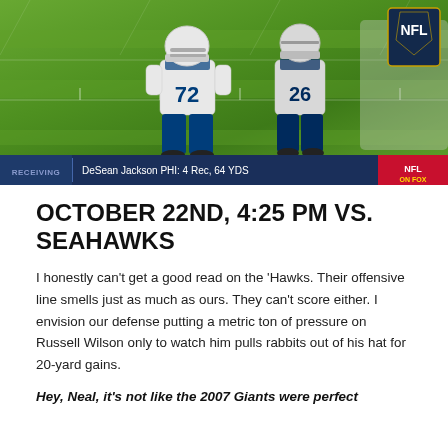[Figure (photo): NFL game broadcast screenshot showing two football players wearing white jerseys with numbers 72 and 26, on a green football field. Bottom chyron bar reads: RECEIVING | DeSean Jackson PHI: 4 Rec, 64 YDS | NFL on FOX logo. NFL shield logo visible in upper right corner.]
OCTOBER 22ND, 4:25 PM VS. SEAHAWKS
I honestly can't get a good read on the ‘Hawks. Their offensive line smells just as much as ours. They can't score either. I envision our defense putting a metric ton of pressure on Russell Wilson only to watch him pulls rabbits out of his hat for 20-yard gains.
Hey, Neal, it’s not like the 2007 Giants were perfect